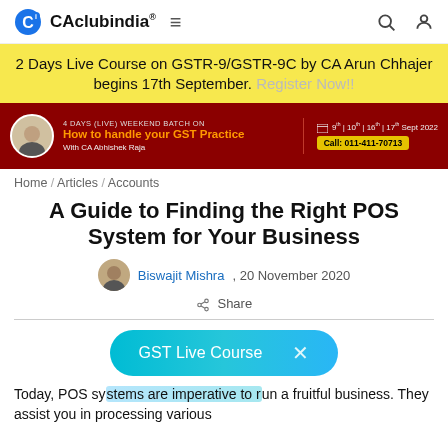CAclubindia® — Home / Articles / Accounts
[Figure (screenshot): Yellow promotional banner: 2 Days Live Course on GSTR-9/GSTR-9C by CA Arun Chhajer begins 17th September. Register Now!!]
[Figure (screenshot): Dark red ad banner: 4 Days (Live) Weekend Batch on How to handle your GST Practice with CA Abhishek Raja. 9th | 10th | 16th | 17th Sept 2022. Call: 011-411-70713]
Home / Articles / Accounts
A Guide to Finding the Right POS System for Your Business
Biswajit Mishra , 20 November 2020
Share
[Figure (screenshot): GST Live Course button overlay with close (X)]
Today, POS systems are imperative to run a fruitful business. They assist you in processing various